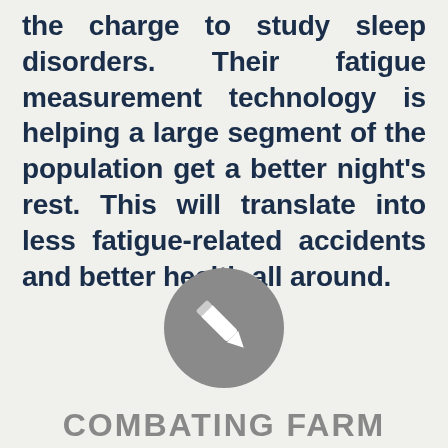the charge to study sleep disorders. Their fatigue measurement technology is helping a large segment of the population get a better night's rest. This will translate into less fatigue-related accidents and better health all around.
[Figure (illustration): A circular grey icon with a white pencil/edit symbol inside]
COMBATING FARM